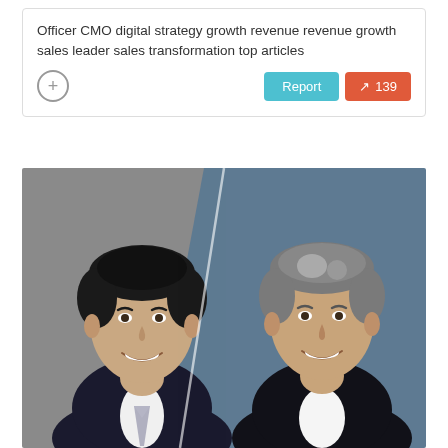Officer CMO digital strategy growth revenue revenue growth sales leader sales transformation top articles
[Figure (other): Plus circle icon button on the left, and two buttons on the right: a cyan 'Report' button and an orange-red trending button showing an upward arrow and the number 139]
[Figure (photo): Two professional headshot photos side by side: on the left, a smiling man with dark hair wearing a dark suit and patterned tie against a gray background; on the right, a smiling man with gray/salt-and-pepper hair wearing a dark jacket and white shirt against a blue-gray background. The two photos are separated by a diagonal dividing line.]